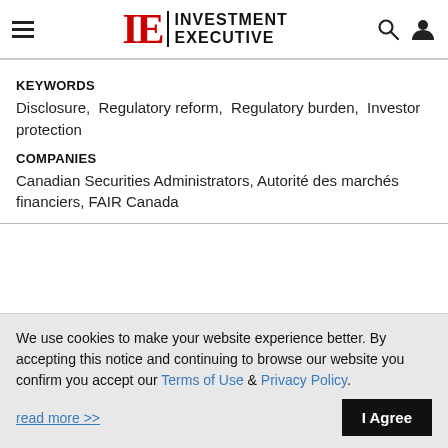IE Investment Executive
KEYWORDS
Disclosure,  Regulatory reform,  Regulatory burden,  Investor protection
COMPANIES
Canadian Securities Administrators, Autorité des marchés financiers, FAIR Canada
We use cookies to make your website experience better. By accepting this notice and continuing to browse our website you confirm you accept our Terms of Use & Privacy Policy.
read more >>  I Agree